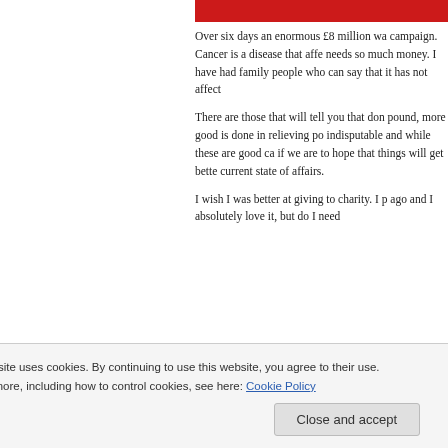[Figure (other): Red banner/header element at top right of page]
Over six days an enormous £8 million wa... campaign. Cancer is a disease that affe... needs so much money. I have had family... people who can say that it has not affect...
There are those that will tell you that don... pound, more good is done in relieving po... indisputable and while these are good ca... if we are to hope that things will get bette... current state of affairs.
I wish I was better at giving to charity. I p... ago and I absolutely love it, but do I need...
Privacy & Cookies: This site uses cookies. By continuing to use this website, you agree to their use. To find out more, including how to control cookies, see here: Cookie Policy
Close and accept